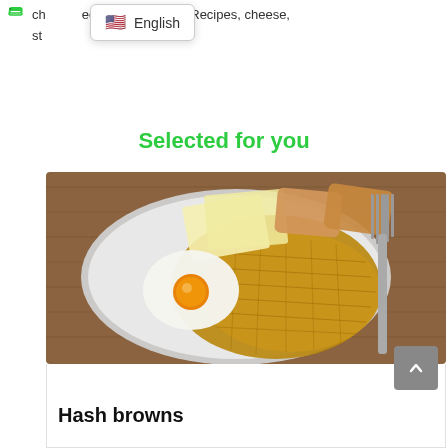ch    eet, dessert, treat, Recipes, cheese, st
[Figure (screenshot): Language selector dropdown showing English with US flag emoji]
Selected for you
[Figure (photo): A plate of hash browns with a fried egg sunny side up, sliced cheese, and toast bread, served on a wooden table with a fork]
Hash browns